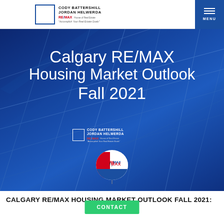CODY BATTERSHILL JORDAN HELWERDA RE/MAX House of Real Estate "Accomplish Your Real Estate Goals"
[Figure (illustration): Calgary RE/MAX Housing Market Outlook Fall 2021 promotional banner with blue geometric building background, Cody Battershill Jordan Helwerda RE/MAX logo, and RE/MAX balloon logo]
CALGARY RE/MAX HOUSING MARKET OUTLOOK FALL 2021: